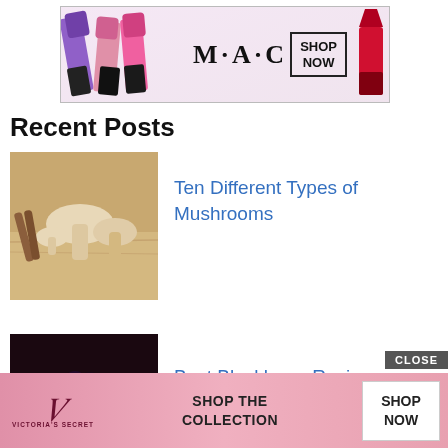[Figure (photo): MAC cosmetics advertisement banner showing colorful lipsticks on left, MAC logo in center, SHOP NOW box, and red lipstick on right]
Recent Posts
[Figure (photo): Thumbnail image of mushrooms on a wooden surface]
Ten Different Types of Mushrooms
[Figure (photo): Thumbnail image of a blackberry tart/pie with blackberries on top]
Best Blackberry Recipes
[Figure (photo): Thumbnail image of a woman with chocolate fondue and a strawberry]
How to Make Chocolate Fondue?
[Figure (photo): Victoria's Secret advertisement banner with pink background, VS logo, SHOP THE COLLECTION text, and SHOP NOW button]